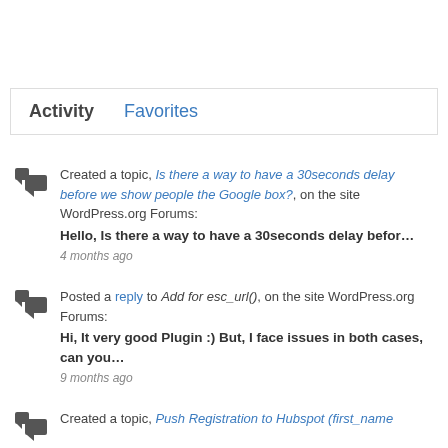Activity   Favorites
Created a topic, Is there a way to have a 30seconds delay before we show people the Google box?, on the site WordPress.org Forums:
Hello, Is there a way to have a 30seconds delay befor…
4 months ago
Posted a reply to Add for esc_url(), on the site WordPress.org Forums:
Hi, It very good Plugin :) But, I face issues in both cases, can you…
9 months ago
Created a topic, Push Registration to Hubspot (first_name